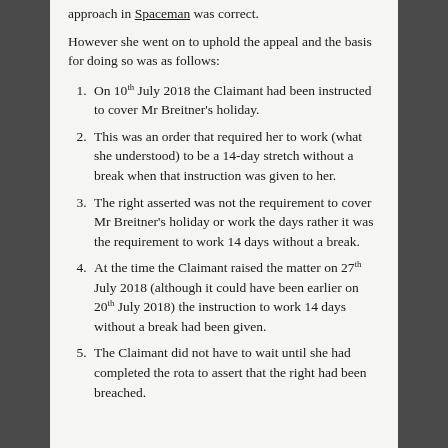approach in Spaceman was correct.
However she went on to uphold the appeal and the basis for doing so was as follows:
On 10th July 2018 the Claimant had been instructed to cover Mr Breitner’s holiday.
This was an order that required her to work (what she understood) to be a 14-day stretch without a break when that instruction was given to her.
The right asserted was not the requirement to cover Mr Breitner’s holiday or work the days rather it was the requirement to work 14 days without a break.
At the time the Claimant raised the matter on 27th July 2018 (although it could have been earlier on 20th July 2018) the instruction to work 14 days without a break had been given.
The Claimant did not have to wait until she had completed the rota to assert that the right had been breached.